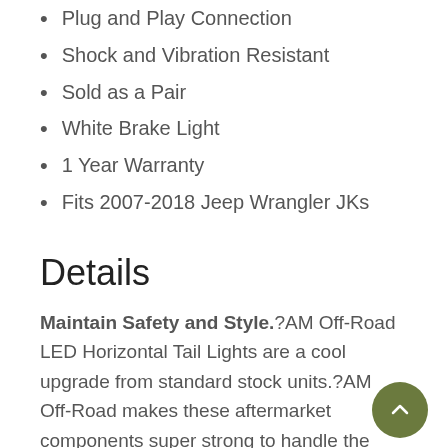Plug and Play Connection
Shock and Vibration Resistant
Sold as a Pair
White Brake Light
1 Year Warranty
Fits 2007-2018 Jeep Wrangler JKs
Details
Maintain Safety and Style.?AM Off-Road LED Horizontal Tail Lights are a cool upgrade from standard stock units.?AM Off-Road makes these aftermarket components super strong to handle the rough conditions of off-road driving. These LED replacement components deliver superior visibility on and off the road. Invest in?AM Off-Road LED Horizontal Tail Lights to enable